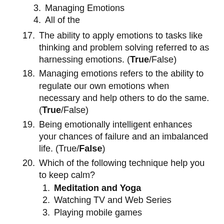3. Managing Emotions
4. All of the
17. The ability to apply emotions to tasks like thinking and problem solving referred to as harnessing emotions. (True/False)
18. Managing emotions refers to the ability to regulate our own emotions when necessary and help others to do the same. (True/False)
19. Being emotionally intelligent enhances your chances of failure and an imbalanced life. (True/False)
20. Which of the following technique help you to keep calm?
1. Meditation and Yoga
2. Watching TV and Web Series
3. Playing mobile games